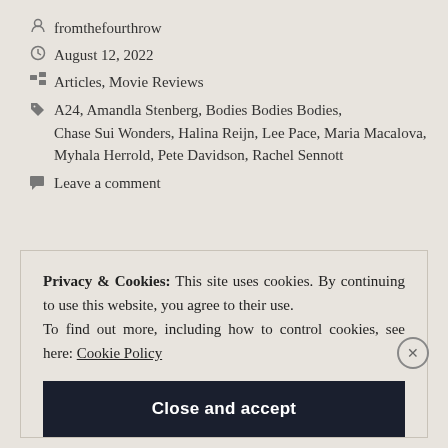fromthefourthrow
August 12, 2022
Articles, Movie Reviews
A24, Amandla Stenberg, Bodies Bodies Bodies, Chase Sui Wonders, Halina Reijn, Lee Pace, Maria Macalova, Myhala Herrold, Pete Davidson, Rachel Sennott
Leave a comment
Privacy & Cookies: This site uses cookies. By continuing to use this website, you agree to their use. To find out more, including how to control cookies, see here: Cookie Policy
Close and accept